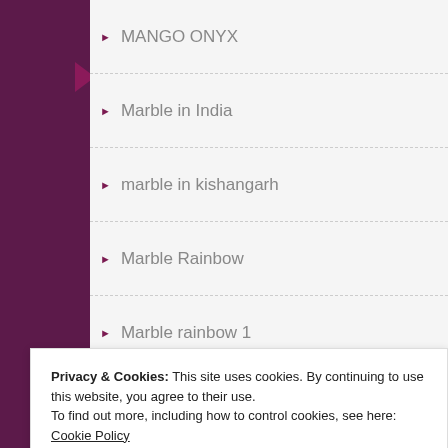MANGO ONYX
Marble in India
marble in kishangarh
Marble Rainbow
Marble rainbow 1
MARINAC GREEN 1
MARINAC GREEN 2
MATRIX 1
MATRIX 2
MBAJI WHITE MARBLE
Privacy & Cookies: This site uses cookies. By continuing to use this website, you agree to their use.
To find out more, including how to control cookies, see here: Cookie Policy
Close and accept